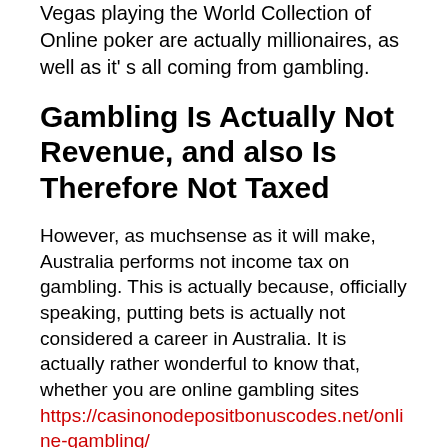Vegas playing the World Collection of Online poker are actually millionaires, as well as it's all coming from gambling.
Gambling Is Actually Not Revenue, and also Is Therefore Not Taxed
However, as muchsense as it will make, Australia performs not income tax on gambling. This is actually because, officially speaking, putting bets is actually not considered a career in Australia. It is actually rather wonderful to know that, whether you are online gambling sites https://casinonodepositbonuscodes.net/online-gambling/ or at a land-based casino, all those jackpots are all yours, as well as if you perform consider on your own a professional casino player, you will definitely certainly not be taken into consideration one in the eyes of the Australian authorities. Unless you resent to that by chance, that is absolutely a beneficial thing, considering that you will generally certainly not be actually paying for earnings tax on your expert profit.